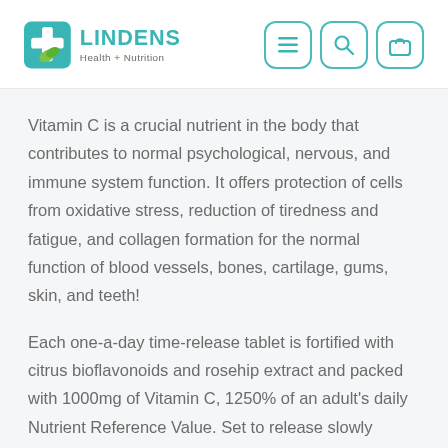[Figure (logo): Lindens Health + Nutrition logo with teal cross and green leaf icon, plus navigation icons for menu, search, and shopping bag]
Vitamin C is a crucial nutrient in the body that contributes to normal psychological, nervous, and immune system function. It offers protection of cells from oxidative stress, reduction of tiredness and fatigue, and collagen formation for the normal function of blood vessels, bones, cartilage, gums, skin, and teeth!
Each one-a-day time-release tablet is fortified with citrus bioflavonoids and rosehip extract and packed with 1000mg of Vitamin C, 1250% of an adult's daily Nutrient Reference Value. Set to release slowly overtime to replenish the regular release of the body's